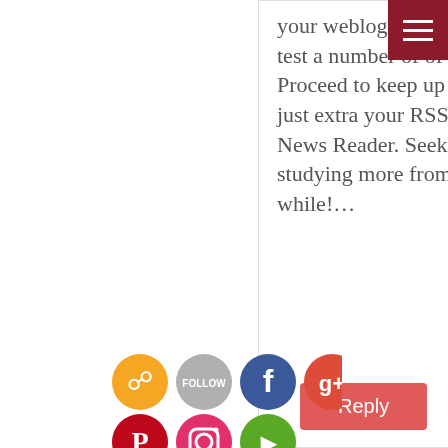your weblog website on google and test a number of of your early posts. Proceed to keep up the good work. I just extra your RSS feed to my MSN News Reader. Seeking ahead to studying more from you in a while!…
[Figure (infographic): Social media share/follow icons: RSS (orange), Follow (gray), Facebook (blue), Google+ (red-orange), Twitter (blue), Pinterest (red), Instagram (red-orange), Hootsuite (green)]
Reply